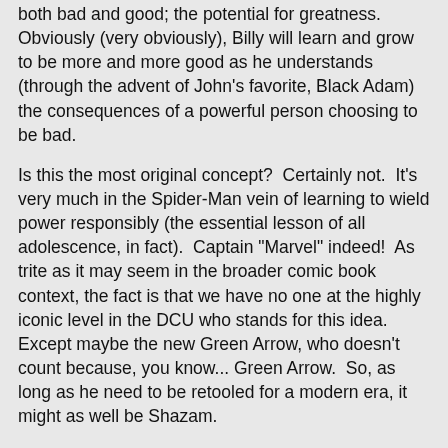both bad and good; the potential for greatness.  Obviously (very obviously), Billy will learn and grow to be more and more good as he understands (through the advent of John's favorite, Black Adam) the consequences of a powerful person choosing to be bad.
Is this the most original concept?  Certainly not.  It's very much in the Spider-Man vein of learning to wield power responsibly (the essential lesson of all adolescence, in fact).  Captain "Marvel" indeed!  As trite as it may seem in the broader comic book context, the fact is that we have no one at the highly iconic level in the DCU who stands for this idea.  Except maybe the new Green Arrow, who doesn't count because, you know... Green Arrow.  So, as long as he need to be retooled for a modern era, it might as well be Shazam.
Johns has successfully revitalized so many characters for DC that I've lost count.  Sometimes the process has been a little uglier, and this time is no exception.  But his track record is such that he's earned a suspension of judgement from me until he's done telling his Shazam story.